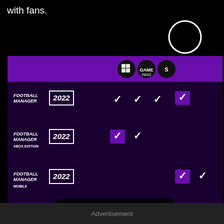with fans.
[Figure (screenshot): Football Manager 2022 platform availability table showing FM2022, FM2022 Xbox Edition, FM2022 Mobile, and FM2022 Touch with checkmarks across different platform columns (PC/Windows, Xbox Game Pass, and others). Overlaid with a 'click to enlarge' button and a share icon. A white circle UI element appears top-right.]
BIGGER THAN EVER - FM22 crossed more platforms than ever before
Advertisement